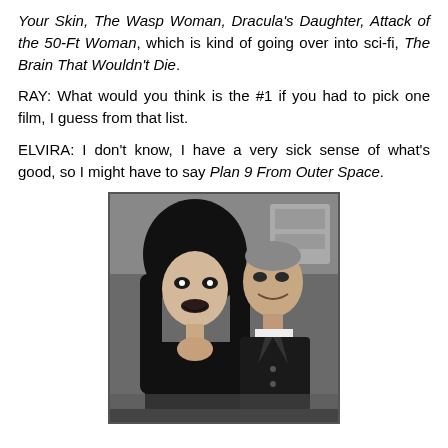Your Skin, The Wasp Woman, Dracula's Daughter, Attack of the 50-Ft Woman, which is kind of going over into sci-fi, The Brain That Wouldn't Die.
RAY: What would you think is the #1 if you had to pick one film, I guess from that list.
ELVIRA: I don't know, I have a very sick sense of what's good, so I might have to say Plan 9 From Outer Space.
[Figure (photo): Black and white photograph of two people — a woman with long dark hair (Elvira) on the left smiling, and an older man on the right looking at her, both dressed in dark clothing.]